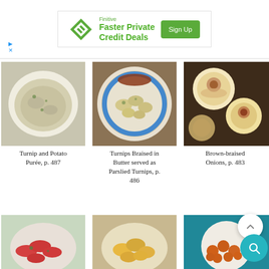[Figure (screenshot): Advertisement banner: Finitive - Faster Private Credit Deals, Sign Up button with diamond logo]
[Figure (photo): Turnip and Potato Purée dish in a white bowl]
Turnip and Potato Purée, p. 487
[Figure (photo): Turnips Braised in Butter served as Parslied Turnips on a blue-rimmed plate]
Turnips Braised in Butter served as Parslied Turnips, p. 486
[Figure (photo): Brown-braised Onions close-up]
Brown-braised Onions, p. 483
[Figure (photo): Red/pink vegetable dish in bowl (partially visible)]
[Figure (photo): Yellow/orange creamy dish in bowl (partially visible)]
[Figure (photo): Glazed carrots in white bowl (partially visible)]